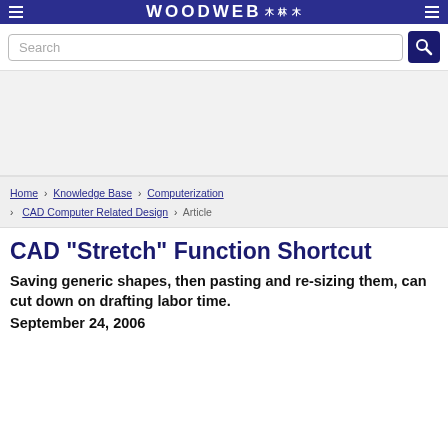WOODWEB
Search
Home › Knowledge Base › Computerization › CAD Computer Related Design › Article
CAD "Stretch" Function Shortcut
Saving generic shapes, then pasting and re-sizing them, can cut down on drafting labor time.
September 24, 2006